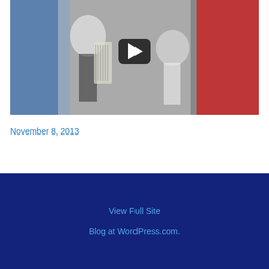[Figure (screenshot): Video thumbnail showing people at what appears to be a public event or rally, with an accordion player visible and a blue flag, plus a red and yellow banner on the right. A dark semi-transparent play button overlay is centered on the image.]
November 8, 2013
View Full Site
Blog at WordPress.com.